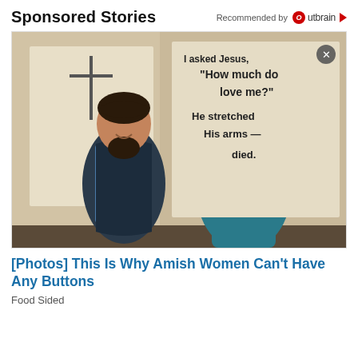Sponsored Stories
Recommended by Outbrain
[Figure (photo): An Amish man and woman standing together in front of a wall with a handwritten sign that reads 'I asked Jesus, How much do you love me? He stretched His arms wide and died.']
[Photos] This Is Why Amish Women Can't Have Any Buttons
Food Sided